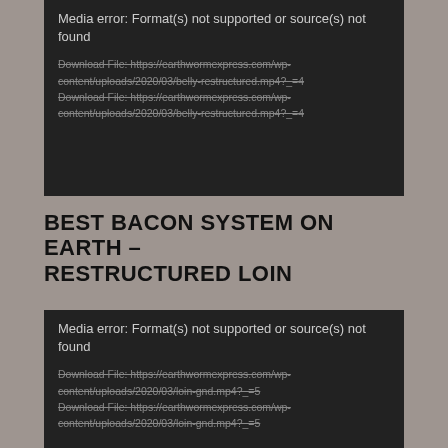[Figure (screenshot): Dark media player error box at top showing 'Media error: Format(s) not supported or source(s) not found' with two download file links to earthwormexpress.com belly-restructured.mp4 URLs]
BEST BACON SYSTEM ON EARTH – RESTRUCTURED LOIN
[Figure (screenshot): Dark media player error box showing 'Media error: Format(s) not supported or source(s) not found' with two download file links to earthwormexpress.com loin-gnd.mp4 URLs]